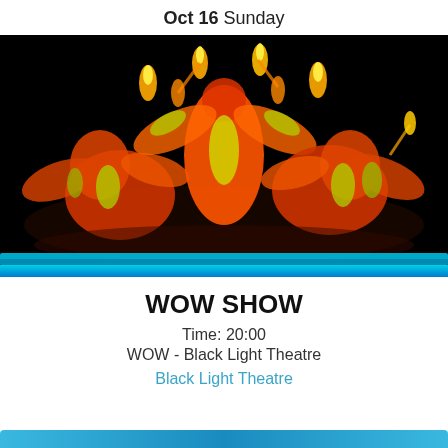Oct 16 Sunday
[Figure (photo): Black light theatre performance: performers in orange/red glowing costumes with flame props against a black background, creating a vivid fluorescent display.]
WOW SHOW
Time: 20:00
WOW - Black Light Theatre
Black Light Theatre